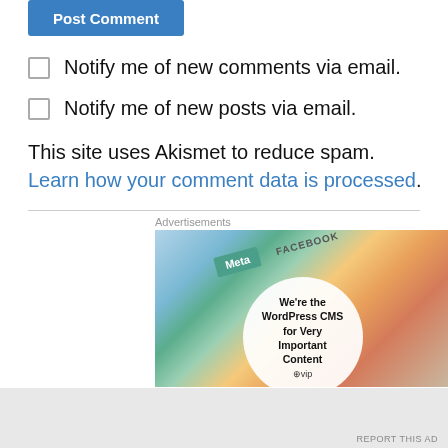Post Comment
Notify me of new comments via email.
Notify me of new posts via email.
This site uses Akismet to reduce spam. Learn how your comment data is processed.
Advertisements
[Figure (illustration): Advertisement banner showing colorful cards with Meta, Facebook logos and a white circle overlay with text: We're the WordPress CMS for Very Important Content]
Advertisements